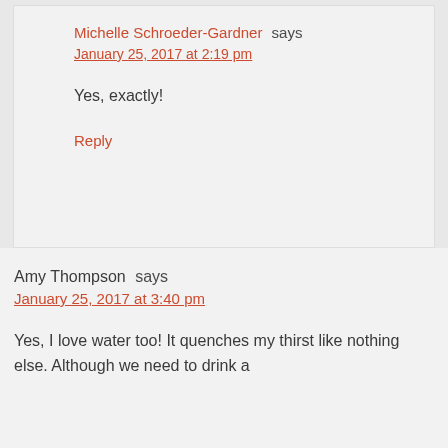Michelle Schroeder-Gardner says
January 25, 2017 at 2:19 pm
Yes, exactly!
Reply
Amy Thompson says
January 25, 2017 at 3:40 pm
Yes, I love water too! It quenches my thirst like nothing else. Although we need to drink a